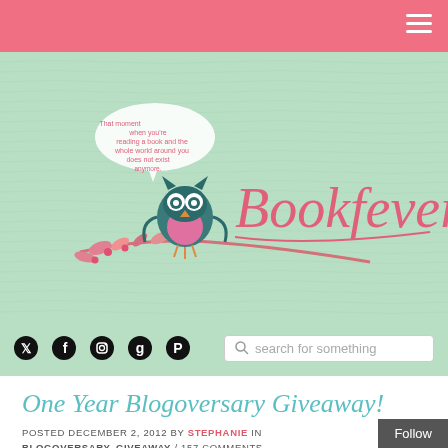Bookfever blog navigation bar with hamburger menu
[Figure (logo): Bookfever blog logo with owl on branch and speech bubble, cursive 'Bookfever' text in pink on mint green background]
Social icons (Twitter, Facebook, Instagram, Goodreads, Pinterest) and search bar with placeholder 'search for something'
One Year Blogoversary Giveaway!
POSTED DECEMBER 2, 2012 BY STEPHANIE IN BLOGOVERSARY, GIVEAWAY / 157 COMMENTS